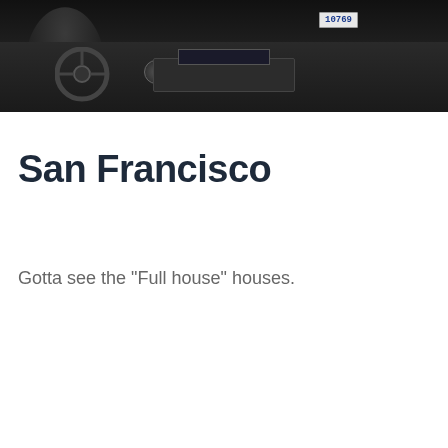[Figure (photo): Car interior dashboard photo with radio unit, license plate reading '10769', and person silhouette visible on dark background]
San Francisco
Gotta see the "Full house" houses.